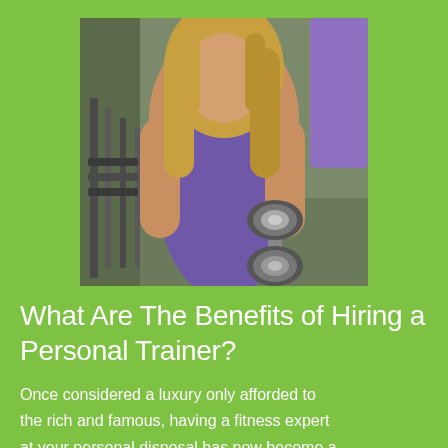[Figure (photo): A woman with long blonde hair wearing a purple tank top lifting a dumbbell in a gym setting]
What Are The Benefits of Hiring a Personal Trainer?
Once considered a luxury only afforded to the rich and famous, having a fitness expert at your personal disposal has now become a